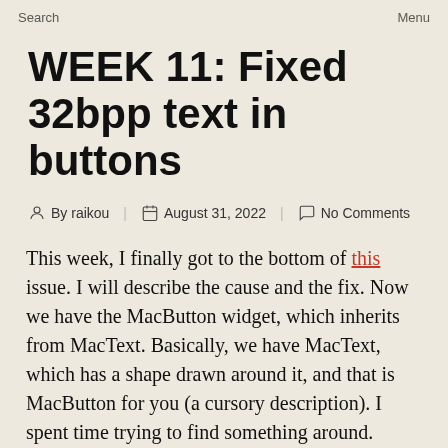Search    Menu
WEEK 11: Fixed 32bpp text in buttons
By raikou   August 31, 2022   No Comments
This week, I finally got to the bottom of this issue. I will describe the cause and the fix. Now we have the MacButton widget, which inherits from MacText. Basically, we have MacText, which has a shape drawn around it, and that is MacButton for you (a cursory description). I spent time trying to find something around.
The colour we use for rendering text is not the